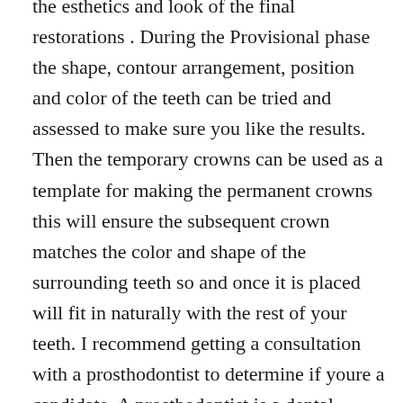the esthetics and look of the final restorations . During the Provisional phase the shape, contour arrangement, position and color of the teeth can be tried and assessed to make sure you like the results. Then the temporary crowns can be used as a template for making the permanent crowns this will ensure the subsequent crown matches the color and shape of the surrounding teeth so and once it is placed will fit in naturally with the rest of your teeth. I recommend getting a consultation with a prosthodontist to determine if youre a candidate. A prosthodontist is a dental specialist who has advanced training in restoring and replacing teeth and can create a customized treatment using the latest techniques in dental implants.